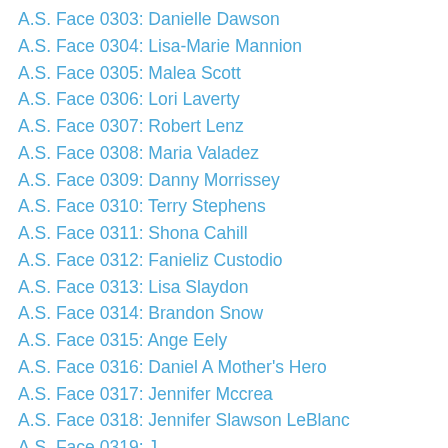A.S. Face 0303: Danielle Dawson
A.S. Face 0304: Lisa-Marie Mannion
A.S. Face 0305: Malea Scott
A.S. Face 0306: Lori Laverty
A.S. Face 0307: Robert Lenz
A.S. Face 0308: Maria Valadez
A.S. Face 0309: Danny Morrissey
A.S. Face 0310: Terry Stephens
A.S. Face 0311: Shona Cahill
A.S. Face 0312: Fanieliz Custodio
A.S. Face 0313: Lisa Slaydon
A.S. Face 0314: Brandon Snow
A.S. Face 0315: Ange Eely
A.S. Face 0316: Daniel A Mother's Hero
A.S. Face 0317: Jennifer Mccrea
A.S. Face 0318: Jennifer Slawson LeBlanc
A.S. Face 0319: J
A.S. Face 0320: Patricia Edgley
A.S. Face 0321: Brittany Ladnier
A.S. Face 0322: Goretti